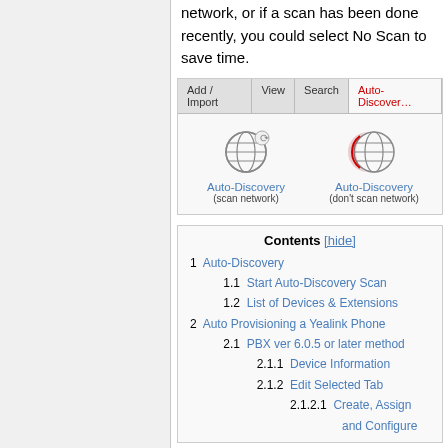network, or if a scan has been done recently, you could select No Scan to save time.
[Figure (screenshot): Screenshot showing Auto-Discovery tab bar with icons for Auto-Discovery (scan network) and Auto-Discovery (don't scan network)]
| Contents | [hide] |
| --- | --- |
| 1 | Auto-Discovery |
| 1.1 | Start Auto-Discovery Scan |
| 1.2 | List of Devices & Extensions |
| 2 | Auto Provisioning a Yealink Phone |
| 2.1 | PBX ver 6.0.5 or later method |
| 2.1.1 | Device Information |
| 2.1.2 | Edit Selected Tab |
| 2.1.2.1 | Create, Assign and Configure |